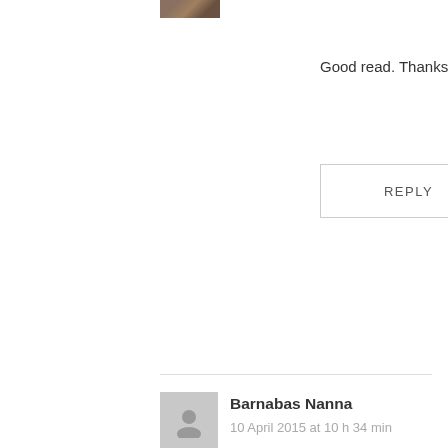[Figure (photo): Small avatar photo thumbnail at top left]
Good read. Thanks for sharing 🙂
REPLY
[Figure (illustration): Grey placeholder avatar icon for Barnabas Nanna]
Barnabas Nanna
10 April 2015 at 10 h 34 min